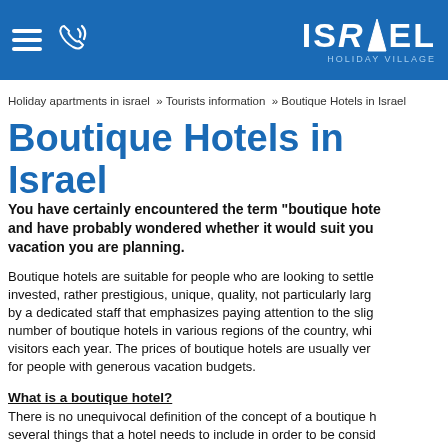ISRAEL HOLIDAY VILLAGE
Holiday apartments in israel » Tourists information » Boutique Hotels in Israel
Boutique Hotels in Israel
You have certainly encountered the term "boutique hotel" and have probably wondered whether it would suit you vacation you are planning.
Boutique hotels are suitable for people who are looking to settle invested, rather prestigious, unique, quality, not particularly large by a dedicated staff that emphasizes paying attention to the slight number of boutique hotels in various regions of the country, whi visitors each year. The prices of boutique hotels are usually ver for people with generous vacation budgets.
What is a boutique hotel?
There is no unequivocal definition of the concept of a boutique h several things that a hotel needs to include in order to be consid hotel must be distinctive, well-distinct, and with distinction...